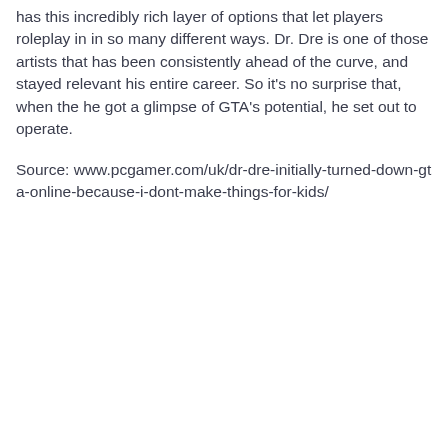has this incredibly rich layer of options that let players roleplay in in so many different ways. Dr. Dre is one of those artists that has been consistently ahead of the curve, and stayed relevant his entire career. So it’s no surprise that, when the he got a glimpse of GTA’s potential, he set out to operate.
Source: www.pcgamer.com/uk/dr-dre-initially-turned-down-gta-online-because-i-dont-make-things-for-kids/